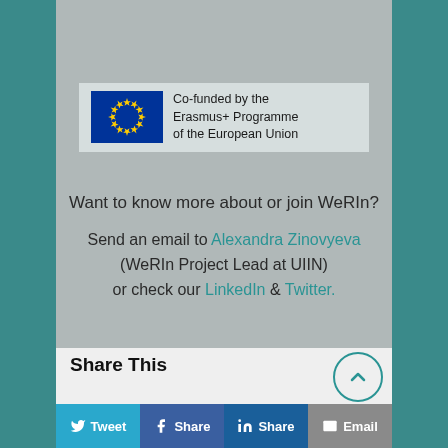[Figure (logo): Colorful abstract arrow/shape logo at the top of the page]
[Figure (logo): EU flag with text: Co-funded by the Erasmus+ Programme of the European Union]
Want to know more about or join WeRIn?
Send an email to Alexandra Zinovyeva (WeRIn Project Lead at UIIN) or check our LinkedIn & Twitter.
Share This
Tweet
Share
Share
Email